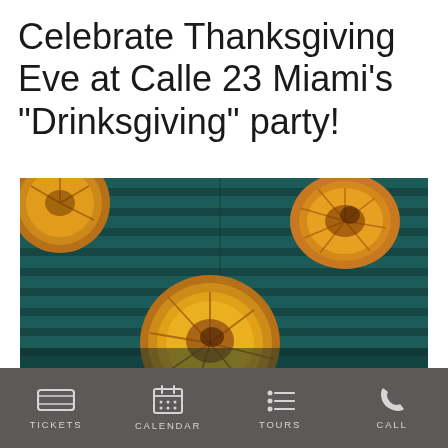Celebrate Thanksgiving Eve at Calle 23 Miami's “Drinksgiving” party!
[Figure (photo): Dried citrus slices (orange/lemon rounds) against a dark teal slatted background, with warm amber tones on the fruit slices]
TICKETS   CALENDAR   TOURS   CALL